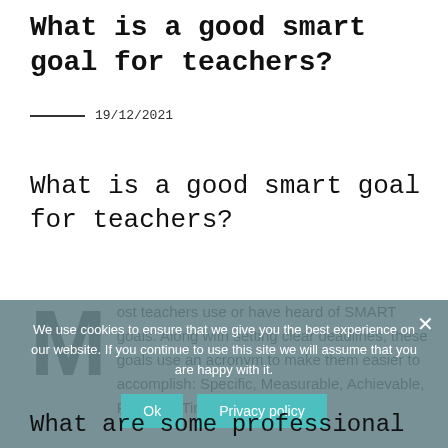What is a good smart goal for teachers?
19/12/2021
What is a good smart goal for teachers?
Most teachers use or have heard of SMART goals. Along with setting clear deadlines, these goals use an acronym to make them easier to accomplish: Specific, Measurable, Achievable, Realistic, Time-Bound
We use cookies to ensure that we give you the best experience on our website. If you continue to use this site we will assume that you are happy with it.
What are some professional